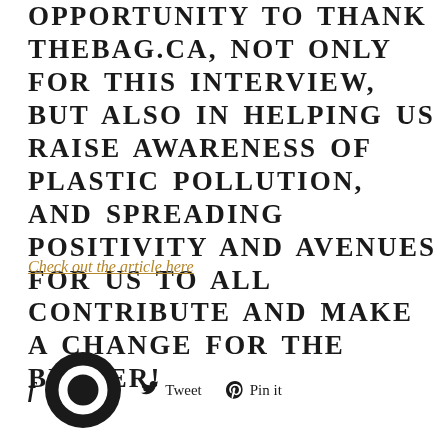WE WOULD LIKE TO TAKE THE OPPORTUNITY TO THANK THEBAG.CA, NOT ONLY FOR THIS INTERVIEW, BUT ALSO IN HELPING US RAISE AWARENESS OF PLASTIC POLLUTION, AND SPREADING POSITIVITY AND AVENUES FOR US TO ALL CONTRIBUTE AND MAKE A CHANGE FOR THE BETTER!
Check out the article here
[Figure (logo): Social share bar with Facebook icon, circular logo/brand mark, Tweet button with Twitter bird icon, and Pin it button with Pinterest icon]